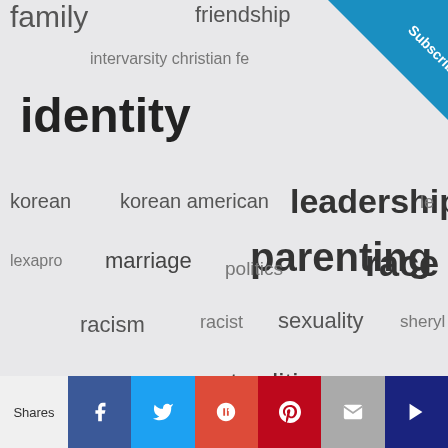[Figure (infographic): Word cloud with tags: family, friendship, gen[der], identity, intervarsity christian fe[llowship], korean, korean american, leadership, le[arning], lexapro, marriage, parenting, politics, race, racism, racist, sexuality, sheryl sandberg, stereotypes, traditions, wedding anniversary, white privilege, white supremacy, women, working moms, writing. Words sized by frequency/importance.]
ARCHIVES
Shares